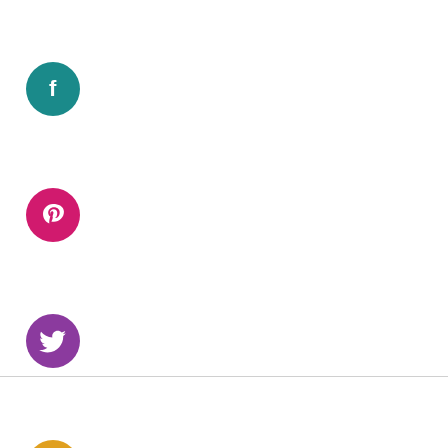[Figure (infographic): Four social media icon buttons arranged vertically on the left side. From top to bottom: Facebook (teal/dark cyan circle with white 'f'), Pinterest (pink/magenta circle with white 'p' pin icon), Twitter (purple circle with white bird icon), Instagram (golden yellow circle with white camera icon).]